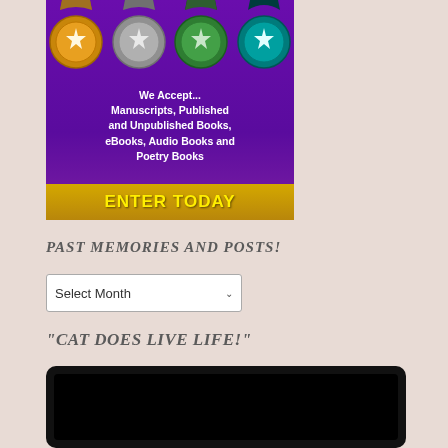[Figure (illustration): Book award competition banner with gold, silver, and green medal images on a purple background. Text reads 'We Accept... Manuscripts, Published and Unpublished Books, eBooks, Audio Books and Poetry Books' with a yellow 'ENTER TODAY' button at the bottom.]
PAST MEMORIES AND POSTS!
Select Month
“CAT DOES LIVE LIFE!”
[Figure (screenshot): A dark/black video player rectangle with rounded corners on a dark background.]